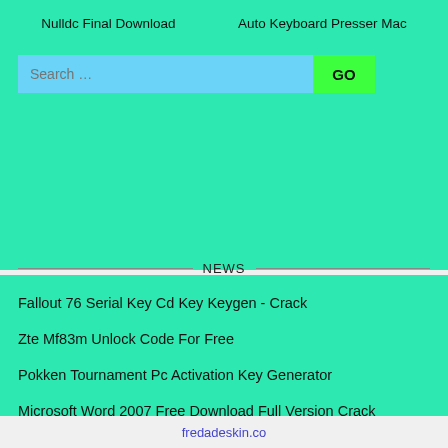Nulldc Final Download    Auto Keyboard Presser Mac
[Figure (screenshot): Search bar with blue background input field and green GO button]
NEWS
Fallout 76 Serial Key Cd Key Keygen - Crack
Zte Mf83m Unlock Code For Free
Pokken Tournament Pc Activation Key Generator
Microsoft Word 2007 Free Download Full Version Crack
Download Game Harvest Moon Friends Of Mineral Town For Android
fredadeskin.co